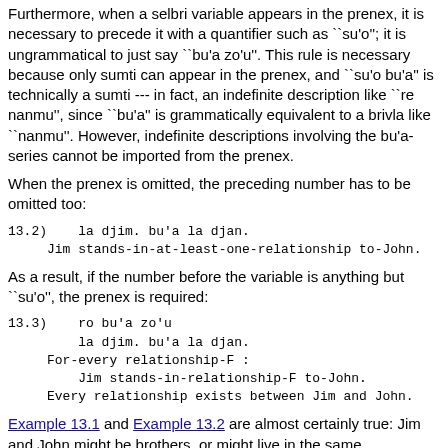Furthermore, when a selbri variable appears in the prenex, it is necessary to precede it with a quantifier such as ``su'o''; it is ungrammatical to just say ``bu'a zo'u''. This rule is necessary because only sumti can appear in the prenex, and ``su'o bu'a'' is technically a sumti --- in fact, an indefinite description like ``re nanmu'', since ``bu'a'' is grammatically equivalent to a brivla like ``nanmu''. However, indefinite descriptions involving the bu'a-series cannot be imported from the prenex.
When the prenex is omitted, the preceding number has to be omitted too:
13.2)    la djim. bu'a la djan.
         Jim stands-in-at-least-one-relationship to-John.
As a result, if the number before the variable is anything but ``su'o'', the prenex is required:
13.3)    ro bu'a zo'u
            la djim. bu'a la djan.
         For-every relationship-F :
            Jim stands-in-relationship-F to-John.
         Every relationship exists between Jim and John.
Example 13.1 and Example 13.2 are almost certainly true: Jim and John might be brothers, or might live in the same